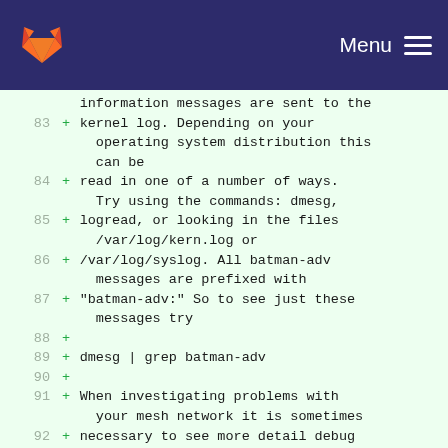GitLab — Menu
information messages are sent to the
83 + kernel log. Depending on your
   operating system distribution this
   can be
84 + read in one of a number of ways.
   Try using the commands: dmesg,
85 + logread, or looking in the files
   /var/log/kern.log or
86 + /var/log/syslog. All batman-adv
   messages are prefixed with
87 + "batman-adv:" So to see just these
   messages try
88 +
89 + dmesg | grep batman-adv
90 +
91 + When investigating problems with
   your mesh network it is sometimes
92 + necessary to see more detail debug
   messages. This must be enabled when
93 + compiling the batman-adv module.